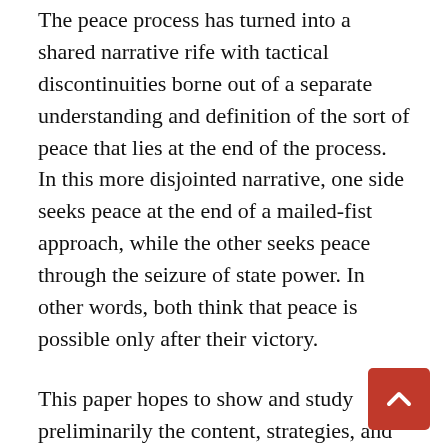The peace process has turned into a shared narrative rife with tactical discontinuities borne out of a separate understanding and definition of the sort of peace that lies at the end of the process. In this more disjointed narrative, one side seeks peace at the end of a mailed-fist approach, while the other seeks peace through the seizure of state power. In other words, both think that peace is possible only after their victory.
This paper hopes to show and study preliminarily the content, strategies, and tactics that continue to box and freeze the peace process through the years. This will be taken from interviews, mostly of Francisco Lara, Jr., long-time Head of International Alert and one who has had a long reputable experience in conflict resolution, having actively participated in these talks. Another most insightful reference is